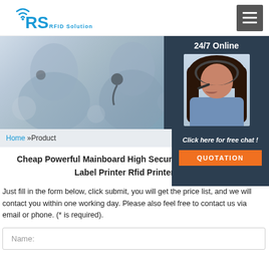RS RFID Solution
[Figure (photo): Hero banner showing call center workers with headsets on left side, and a 24/7 Online chat panel with female agent on right side]
Home »Product
Cheap Powerful Mainboard High Security Stability Industry Label Printer Rfid Printer La...
Click here for free chat!
QUOTATION
Just fill in the form below, click submit, you will get the price list, and we will contact you within one working day. Please also feel free to contact us via email or phone. (* is required).
Name: